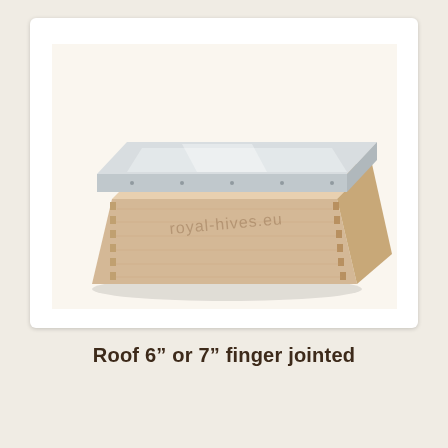[Figure (photo): A wooden beehive roof with a metal (galvanized steel) top cover, showing finger-jointed wood construction. The box is light pine wood with a shiny metal lid. Watermark text 'royal-hives.eu' visible on the image.]
Roof 6" or 7" finger jointed